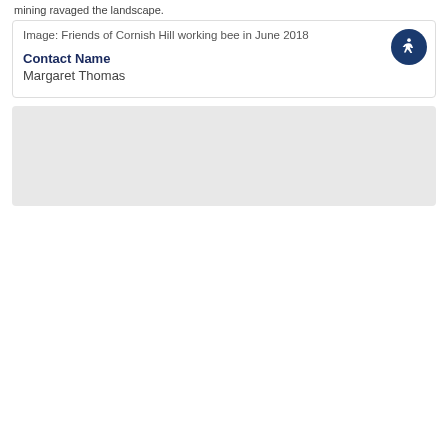mining ravaged the landscape.
[Figure (photo): Group of people standing outdoors in a natural landscape during a working bee event. Several individuals are holding tools and cups. A small folding table with cups and a thermos is visible. Trees and shrubby vegetation in the background with overcast sky.]
Image: Friends of Cornish Hill working bee in June 2018
Contact Name
Margaret Thomas
[Figure (other): Light grey placeholder/map area at the bottom of the page]